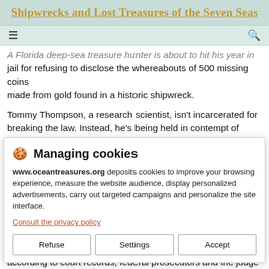Shipwrecks and Lost Treasures of the Seven Seas
A Florida deep-sea treasure hunter is about to hit his year in jail for refusing to disclose the whereabouts of 500 missing coins made from gold found in a historic shipwreck.
Tommy Thompson, a research scientist, isn't incarcerated for breaking the law. Instead, he's being held in contempt of court for
[Figure (screenshot): Cookie consent dialog box with title 'Managing cookies', body text from www.oceantreasures.org about cookies, a privacy policy link, and three buttons: Refuse, Settings, Accept]
according to court records, federal prosecutors and the judge who